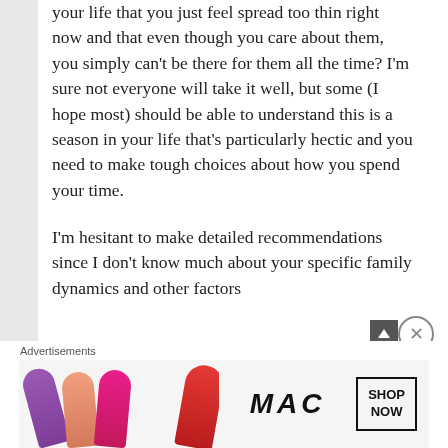your life that you just feel spread too thin right now and that even though you care about them, you simply can't be there for them all the time? I'm sure not everyone will take it well, but some (I hope most) should be able to understand this is a season in your life that's particularly hectic and you need to make tough choices about how you spend your time.
I'm hesitant to make detailed recommendations since I don't know much about your specific family dynamics and other factors
Advertisements
[Figure (illustration): MAC cosmetics advertisement banner showing colorful lipsticks (purple, peach, pink, red) on the left, MAC logo in the center, and a SHOP NOW button in a black border box on the right.]